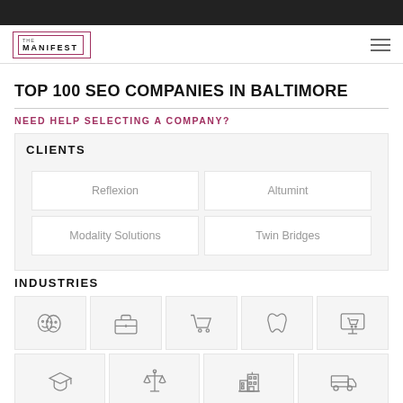THE MANIFEST
TOP 100 SEO COMPANIES IN BALTIMORE
NEED HELP SELECTING A COMPANY?
CLIENTS
| Reflexion | Altumint |
| Modality Solutions | Twin Bridges |
INDUSTRIES
[Figure (illustration): Industry icons grid: arts/entertainment (theater masks), business services (briefcase), retail (shopping cart), dental/healthcare (tooth), e-commerce (monitor with cart), education (graduation cap), legal (scales of justice), finance/real estate (buildings), transportation/delivery (truck)]